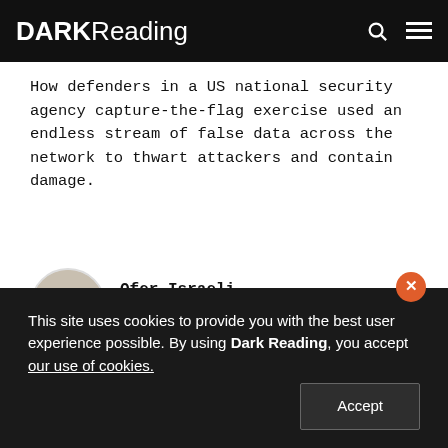DARK Reading
How defenders in a US national security agency capture-the-flag exercise used an endless stream of false data across the network to thwart attackers and contain damage.
Ofer Israeli
CEO & Founder, Illusive Networks
September 12, 2017
[Figure (other): Social sharing buttons: Twitter, LinkedIn, Facebook, Reddit, PDF, Email]
This site uses cookies to provide you with the best user experience possible. By using Dark Reading, you accept our use of cookies.